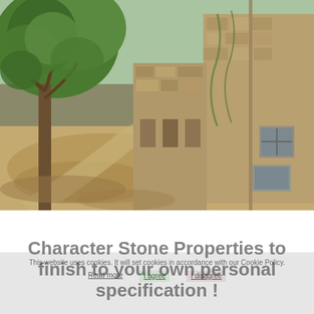[Figure (photo): Exterior photo of a rustic stone property building with a gravel path, large tree on the left, stone walls with climbing plants, and a metal drainpipe visible on the right corner. Sunny rural setting.]
Character Stone Properties to finish to your own personal specification !
This website uses cookies. It will set cookies in accordance with our Cookie Policy.
Read more   I agree   I disagree